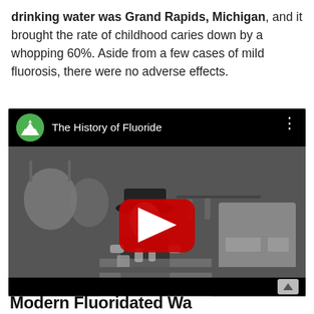drinking water was Grand Rapids, Michigan, and it brought the rate of childhood caries down by a whopping 60%. Aside from a few cases of mild fluorosis, there were no adverse effects.
[Figure (screenshot): An embedded YouTube video titled 'The History of Fluoride', showing a black-and-white historical photograph of a man in a hat working in a laboratory with equipment and bottles, with a red YouTube play button in the center.]
Modern Fluoridated Wa...